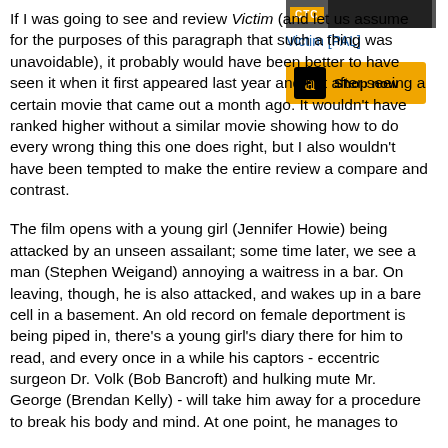If I was going to see and review Victim (and let us assume for the purposes of this paragraph that such a thing was unavoidable), it probably would have been better to have seen it when it first appeared last year and not after seeing a certain movie that came out a month ago. It wouldn't have ranked higher without a similar movie showing how to do every wrong thing this one does right, but I also wouldn't have been tempted to make the entire review a compare and contrast.
[Figure (screenshot): CTC label with dark bar - product image placeholder]
Victim [PAL]
[Figure (screenshot): Amazon Shop now button with Amazon logo]
The film opens with a young girl (Jennifer Howie) being attacked by an unseen assailant; some time later, we see a man (Stephen Weigand) annoying a waitress in a bar. On leaving, though, he is also attacked, and wakes up in a bare cell in a basement. An old record on female deportment is being piped in, there's a young girl's diary there for him to read, and every once in a while his captors - eccentric surgeon Dr. Volk (Bob Bancroft) and hulking mute Mr. George (Brendan Kelly) - will take him away for a procedure to break his body and mind. At one point, he manages to